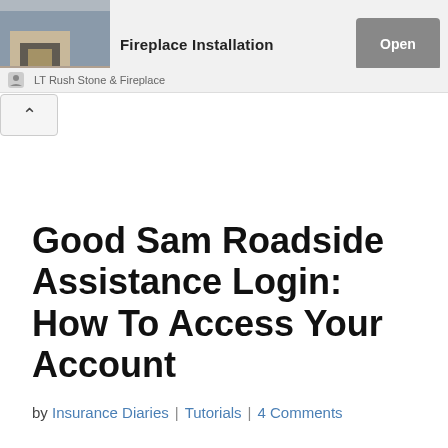[Figure (screenshot): Advertisement banner for LT Rush Stone & Fireplace featuring a fireplace installation image, title 'Fireplace Installation', and an 'Open' button]
Good Sam Roadside Assistance Login: How To Access Your Account
by Insurance Diaries | Tutorials | 4 Comments